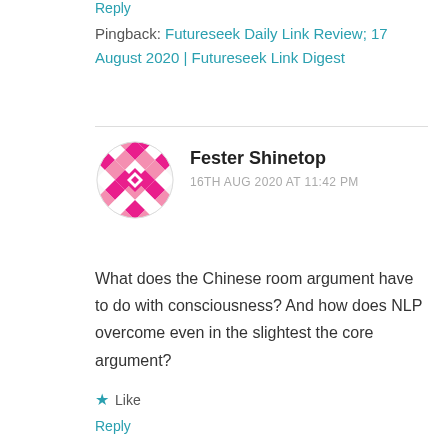Reply
Pingback: Futureseek Daily Link Review; 17 August 2020 | Futureseek Link Digest
Fester Shinetop
16TH AUG 2020 AT 11:42 PM
What does the Chinese room argument have to do with consciousness? And how does NLP overcome even in the slightest the core argument?
★ Like
Reply